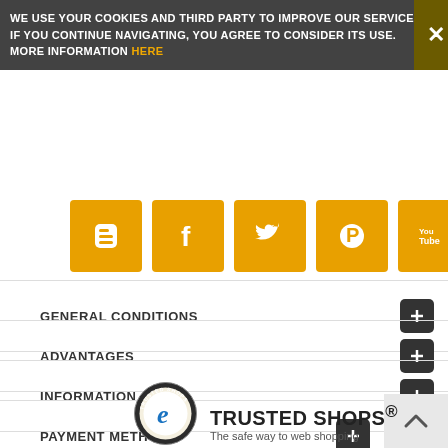WE USE YOUR COOKIES AND THIRD PARTY TO IMPROVE OUR SERVICES. IF YOU CONTINUE NAVIGATING, YOU AGREE TO CONSIDER ITS USE. MORE INFORMATION HERE
[Figure (infographic): Row of 5 social media icons (Blogger, Facebook, Twitter, Pinterest, YouTube) in orange/amber rounded square buttons]
GENERAL CONDITIONS
ADVANTAGES
INFORMATION
PAYMENT METHODS
[Figure (logo): Trusted Shops circular badge logo with 'e' letter and 'TRUSTED SHOPS' text around the ring]
TRUSTED SHOPS®
The safe way to web shopping